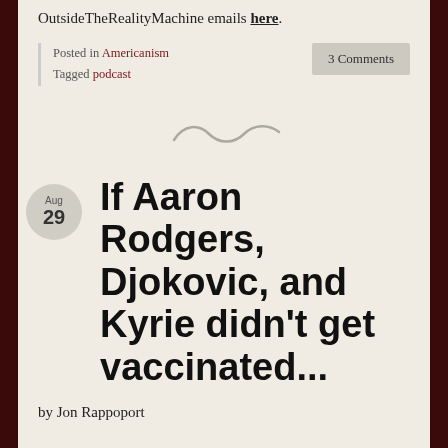OutsideTheRealityMachine emails here.
Posted in Americanism
Tagged podcast
3 Comments
[Figure (illustration): Decorative tilde/swirl divider]
If Aaron Rodgers, Djokovic, and Kyrie didn't get vaccinated...
by Jon Rappoport